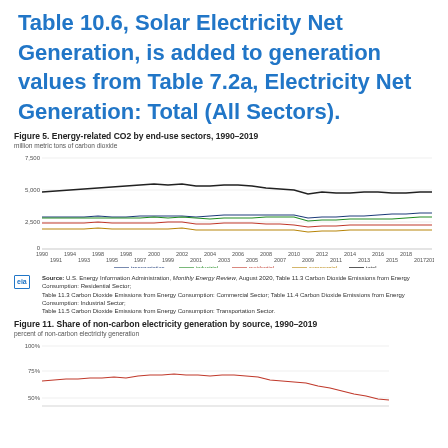Table 10.6, Solar Electricity Net Generation, is added to generation values from Table 7.2a, Electricity Net Generation: Total (All Sectors).
[Figure (line-chart): Figure 5. Energy-related CO2 by end-use sectors, 1990–2019]
Source: U.S. Energy Information Administration, Monthly Energy Review, August 2020, Table 11.3 Carbon Dioxide Emissions from Energy Consumption: Residential Sector; Table 11.3 Carbon Dioxide Emissions from Energy Consumption: Commercial Sector; Table 11.4 Carbon Dioxide Emissions from Energy Consumption: Industrial Sector; Table 11.5 Carbon Dioxide Emissions from Energy Consumption: Transportation Sector.
[Figure (line-chart): Figure 11. Share of non-carbon electricity generation by source, 1990–2019]